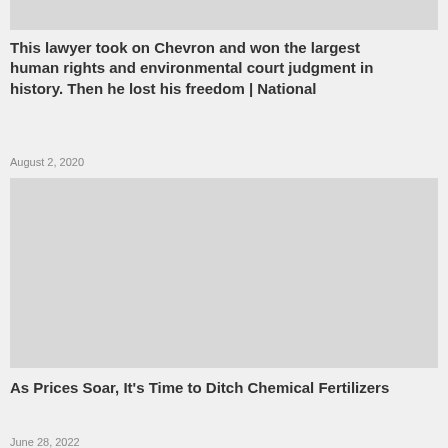[Figure (photo): Top image strip — article thumbnail (partially visible)]
This lawyer took on Chevron and won the largest human rights and environmental court judgment in history. Then he lost his freedom | National
August 2, 2020
[Figure (photo): Article thumbnail image placeholder for second article]
As Prices Soar, It's Time to Ditch Chemical Fertilizers
June 28, 2022